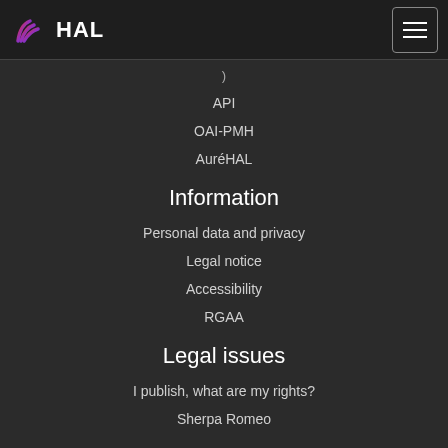HAL
API
OAI-PMH
AuréHAL
Information
Personal data and privacy
Legal notice
Accessibility
RGAA
Legal issues
I publish, what are my rights?
Sherpa Romeo
Portails
Portals list